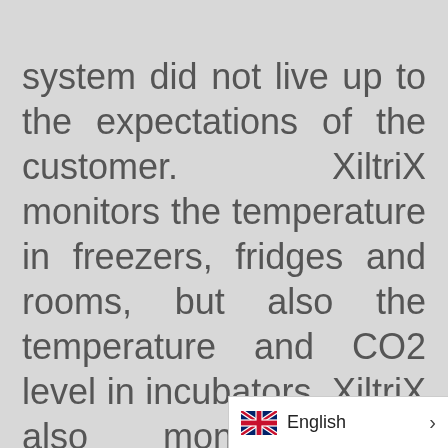system did not live up to the expectations of the customer. XiltriX monitors the temperature in freezers, fridges and rooms, but also the temperature and CO2 level in incubators. XiltriX also monitors the differential pressure and particle counts in the cleanrooms and is calibrated and validated according to 21 CFR part 11 and GMP. After many years of use, we asked Mr. Tony van Weert, facilities engineer, responsible for XiltriX, to describe
English